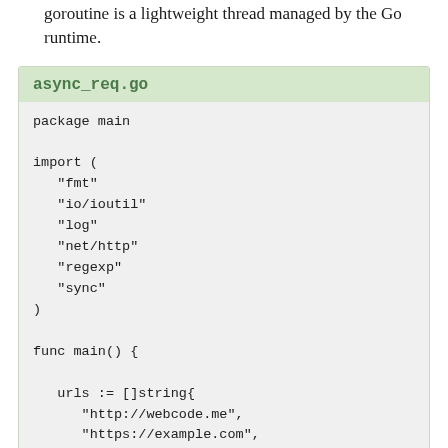goroutine is a lightweight thread managed by the Go runtime.
async_req.go
package main

import (
    "fmt"
    "io/ioutil"
    "log"
    "net/http"
    "regexp"
    "sync"
)

func main() {

    urls := []string{
        "http://webcode.me",
        "https://example.com",
        "http://httpbin.org",
        "https://www.perl.org",
        "https://www.php.net",